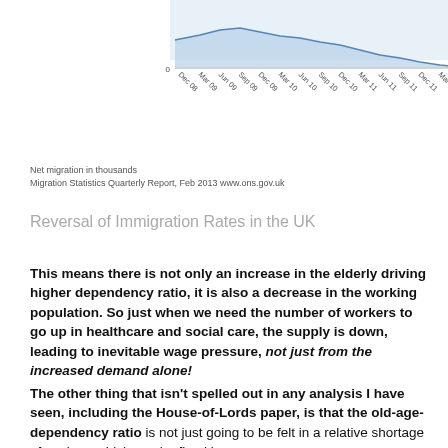[Figure (continuous-plot): Line chart showing net migration in thousands over time from Dec 08 to Jun 12, with x-axis labels: Dec 08, Mar 09, Jun 09, Sep 09, Dec 09, Mar 10, Jun 10, Sep 10, Dec 10, Mar 11, Jun 11, Sep 11, Dec 11, Mar 12, Jun 12. Y-axis shows value 0 at bottom. The chart area is partially visible (top cropped), showing a blue-shaded area chart.]
Net migration in thousands
Migration Statistics Quarterly Report, Feb 2013 www.ons.gov.uk
Reversal of Immigration Rates in the UK
This means there is not only an increase in the elderly driving higher dependency ratio, it is also a decrease in the working population. So just when we need the number of workers to go up in healthcare and social care, the supply is down, leading to inevitable wage pressure, not just from the increased demand alone!
The other thing that isn't spelled out in any analysis I have seen, including the House-of-Lords paper, is that the old-age-dependency ratio is not just going to be felt in a relative shortage of workers which can be fixed by